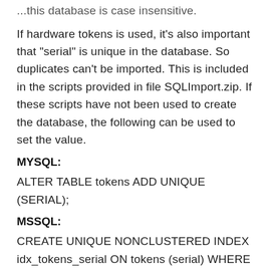...this database is case insensitive.
If hardware tokens is used, it's also important that "serial" is unique in the database. So duplicates can't be imported. This is included in the scripts provided in file SQLImport.zip. If these scripts have not been used to create the database, the following can be used to set the value.
MYSQL:
ALTER TABLE tokens ADD UNIQUE (SERIAL);
MSSQL:
CREATE UNIQUE NONCLUSTERED INDEX idx_tokens_serial ON tokens (serial) WHERE serial IS NOT NULL